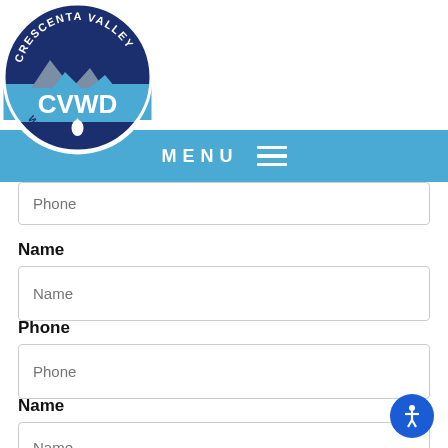[Figure (logo): Crescenta Valley Water District (CVWD) circular logo with blue mountain/water imagery and water drop]
MENU ☰
Phone (placeholder input, partially visible)
Name
Name (placeholder input)
Phone
Phone (placeholder input)
Name
Name (placeholder input)